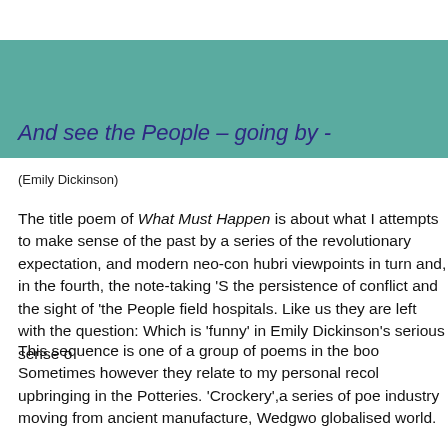And see the People – going by -
(Emily Dickinson)
The title poem of What Must Happen is about what I attempts to make sense of the past by a series of the revolutionary expectation, and modern neo-con hubri viewpoints in turn and, in the fourth, the note-taking 'S the persistence of conflict and the sight of 'the People field hospitals. Like us they are left with the question: Which is 'funny' in Emily Dickinson's serious sense o
This sequence is one of a group of poems in the boo Sometimes however they relate to my personal recol upbringing in the Potteries. 'Crockery',a series of poe industry moving from ancient manufacture, Wedgwo globalised world.